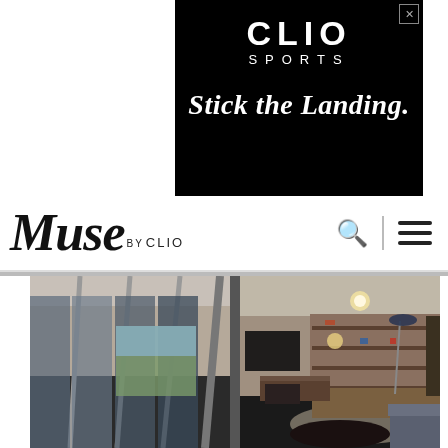[Figure (screenshot): CLIO Sports advertisement banner with black background. Shows 'CLIO SPORTS' in white letters at top and 'Stick the Landing.' tagline in white italic text below.]
[Figure (logo): Muse by CLIO website navigation bar with logo on left and search/menu icons on right.]
[Figure (photo): Interior architectural photo of a modern office space with glass partition walls on the left and a warmly lit executive office/lounge area with bookshelves, desk, and seating on the right.]